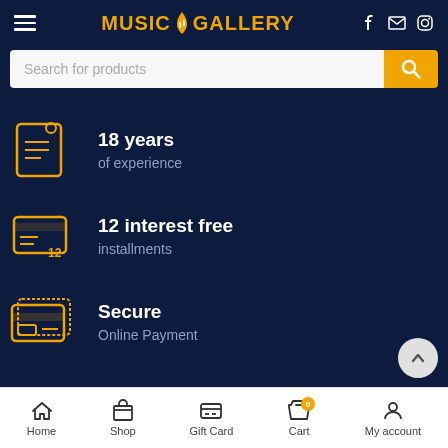[Figure (logo): Music Gallery logo with orange text and musical note, white hamburger menu, and social icons (Facebook, email, Instagram) on dark navy header]
[Figure (screenshot): Search bar with placeholder text 'Search for products' and orange search button with magnifying glass icon]
18 years
of experience
12 interest free
installments
Secure
Online Payment
Home  Shop  Gift Card  Cart  My account